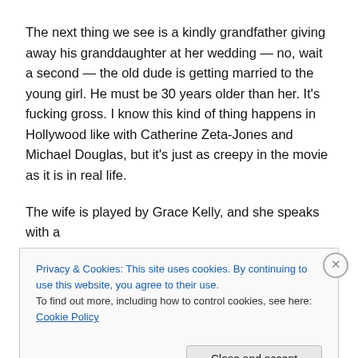The next thing we see is a kindly grandfather giving away his granddaughter at her wedding — no, wait a second — the old dude is getting married to the young girl. He must be 30 years older than her. It's fucking gross. I know this kind of thing happens in Hollywood like with Catherine Zeta-Jones and Michael Douglas, but it's just as creepy in the movie as it is in real life.
The wife is played by Grace Kelly, and she speaks with a really fucking annoying accent. It's the kind you see in lots
Privacy & Cookies: This site uses cookies. By continuing to use this website, you agree to their use.
To find out more, including how to control cookies, see here: Cookie Policy